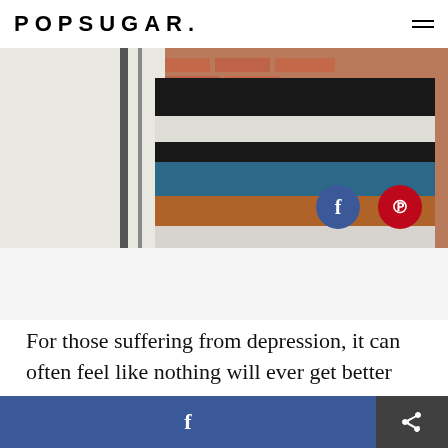POPSUGAR.
[Figure (photo): Cropped photo of a person wearing a colorful striped knit sweater with black, white, teal, and orange/brown stripes, in front of a brick wall background]
For those suffering from depression, it can often feel like nothing will ever get better and nobody will ever understand. My personal bouts consist of oversleeping, undereating, shutting down at inappropriate times, disconnecting or isolating myself from the people I care about in an effort